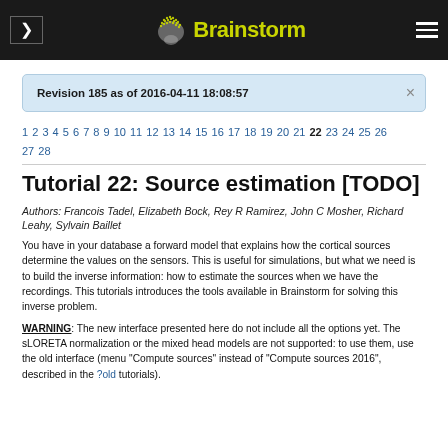[Figure (logo): Brainstorm application header bar with logo (brain icon and yellow-green 'Brainstorm' text), navigation arrow on left, hamburger menu on right, dark background]
Revision 185 as of 2016-04-11 18:08:57
1 2 3 4 5 6 7 8 9 10 11 12 13 14 15 16 17 18 19 20 21 22 23 24 25 26 27 28
Tutorial 22: Source estimation [TODO]
Authors: Francois Tadel, Elizabeth Bock, Rey R Ramirez, John C Mosher, Richard Leahy, Sylvain Baillet
You have in your database a forward model that explains how the cortical sources determine the values on the sensors. This is useful for simulations, but what we need is to build the inverse information: how to estimate the sources when we have the recordings. This tutorials introduces the tools available in Brainstorm for solving this inverse problem.
WARNING: The new interface presented here do not include all the options yet. The sLORETA normalization or the mixed head models are not supported: to use them, use the old interface (menu "Compute sources" instead of "Compute sources 2016", described in the ?old tutorials).